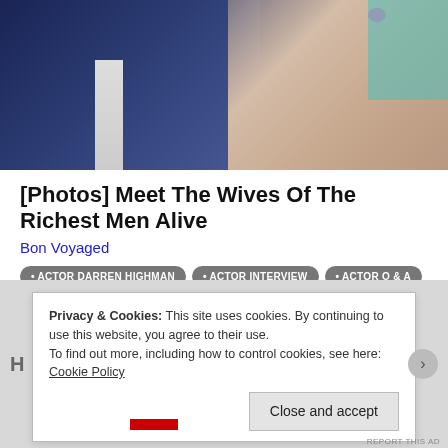[Figure (photo): Photo of two people: a man in a dark blue suit on the left and a woman in a lace/textured outfit on the right, cropped at the torso level]
[Photos] Meet The Wives Of The Richest Men Alive
Bon Voyaged
ACTOR DARREN HIGHMAN
ACTOR INTERVIEW
ACTOR Q & A
CANNES FILM FESTIVAL
DESPERADOS FILM
EPIC PICTURES GROUP
SOMNUS FILM
UK ACTORS
Privacy & Cookies: This site uses cookies. By continuing to use this website, you agree to their use.
To find out more, including how to control cookies, see here: Cookie Policy
Close and accept